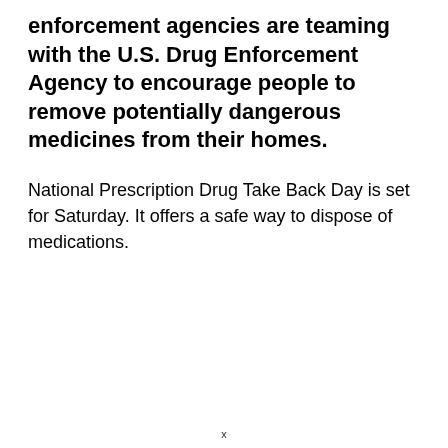enforcement agencies are teaming with the U.S. Drug Enforcement Agency to encourage people to remove potentially dangerous medicines from their homes.
National Prescription Drug Take Back Day is set for Saturday. It offers a safe way to dispose of medications.
x